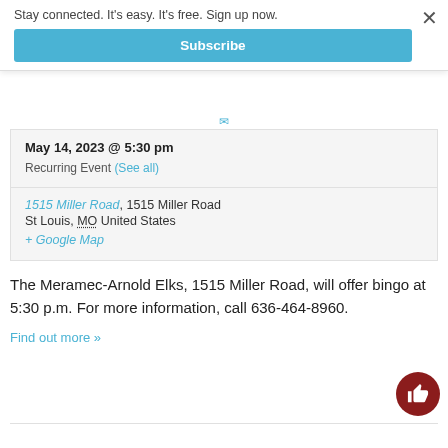Stay connected. It's easy. It's free. Sign up now.
Subscribe
May 14, 2023 @ 5:30 pm
Recurring Event (See all)
1515 Miller Road, 1515 Miller Road
St Louis, MO United States
+ Google Map
The Meramec-Arnold Elks, 1515 Miller Road, will offer bingo at 5:30 p.m. For more information, call 636-464-8960.
Find out more »